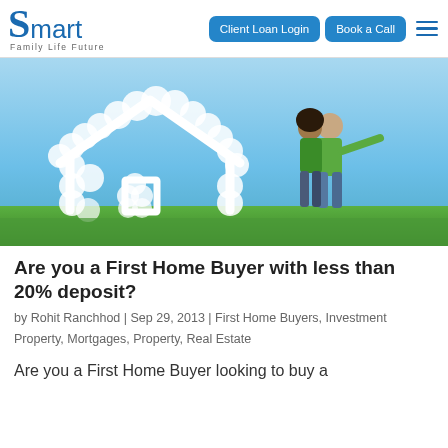Smart Family Life Future | Client Loan Login | Book a Call
[Figure (photo): A couple standing on green grass pointing toward a cloud-shaped house outline against a blue sky]
Are you a First Home Buyer with less than 20% deposit?
by Rohit Ranchhod | Sep 29, 2013 | First Home Buyers, Investment Property, Mortgages, Property, Real Estate
Are you a First Home Buyer looking to buy a